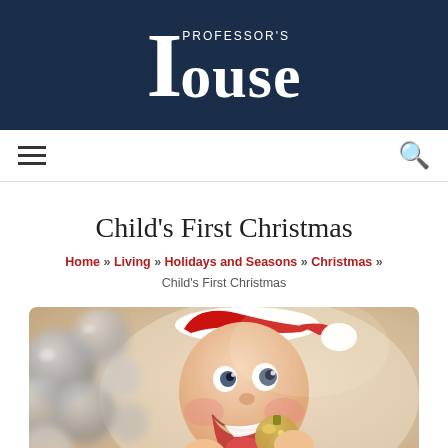Professor's House
Child's First Christmas
Home » Living » Holidays and Seasons » Christmas » Child's First Christmas
[Figure (photo): A smiling baby wearing a red Santa outfit and white Santa hat, biting on a golden ornament, with silver Christmas balls blurred in the background.]